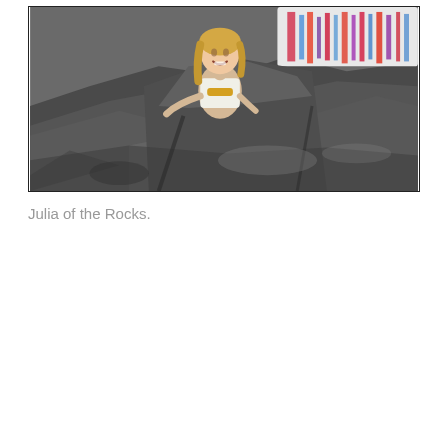[Figure (photo): A young girl with blonde hair smiling, sitting among large dark grey rocks at what appears to be a rocky beach or coastline. She is wearing a white top and there is a colourful patterned cloth or towel visible on the rocks in the upper right.]
Julia of the Rocks.